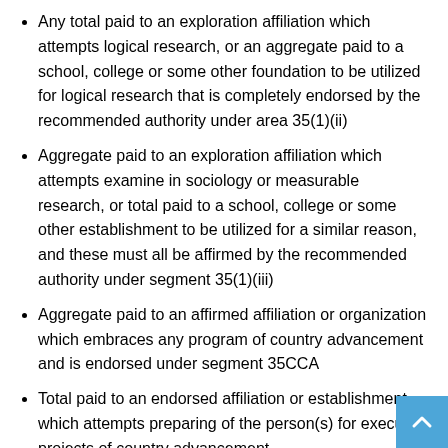Any total paid to an exploration affiliation which attempts logical research, or an aggregate paid to a school, college or some other foundation to be utilized for logical research that is completely endorsed by the recommended authority under area 35(1)(ii)
Aggregate paid to an exploration affiliation which attempts examine in sociology or measurable research, or total paid to a school, college or some other establishment to be utilized for a similar reason, and these must all be affirmed by the recommended authority under segment 35(1)(iii)
Aggregate paid to an affirmed affiliation or organization which embraces any program of country advancement and is endorsed under segment 35CCA
Total paid to an endorsed affiliation or establishment which attempts preparing of the person(s) for executing projects of country advancement
Total paid to an open area organization, neighborhood